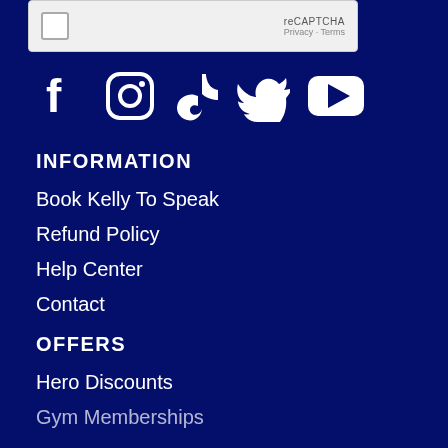[Figure (screenshot): reCAPTCHA widget with checkbox, 'reCAPTCHA' label, and Privacy - Terms links]
[Figure (infographic): Social media icons row: Facebook, Instagram, TikTok, Twitter, YouTube — white icons on dark navy background]
INFORMATION
Book Kelly To Speak
Refund Policy
Help Center
Contact
OFFERS
Hero Discounts
Gym Memberships